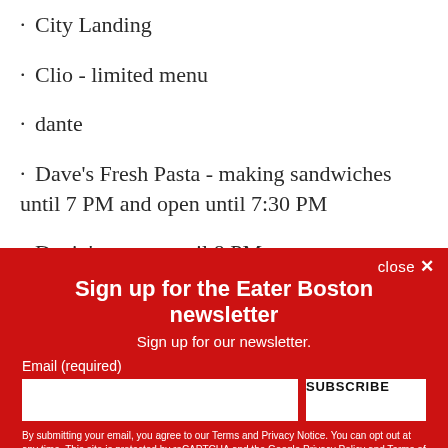· City Landing
· Clio - limited menu
· dante
· Dave's Fresh Pasta - making sandwiches until 7 PM and open until 7:30 PM
· Davio's - open until 8 PM
· dbar
Sign up for the Eater Boston newsletter
Sign up for our newsletter.
Email (required)
SUBSCRIBE
By submitting your email, you agree to our Terms and Privacy Notice. You can opt out at any time. This site is protected by reCAPTCHA and the Google Privacy Policy and Terms of Service apply.